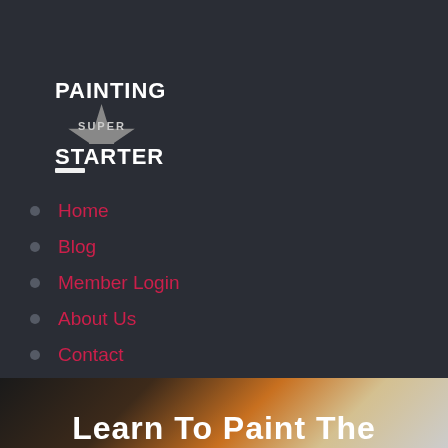[Figure (logo): Painting Super Starter logo with text PAINTING above a star shape and STARTER below, with SUPER in smaller text on the star]
Home
Blog
Member Login
About Us
Contact
Press Releases
[Figure (photo): Blurred background image with warm tones — dark on left, orange/amber in center, light/cream on right — partially visible at bottom of page]
Learn To Paint The